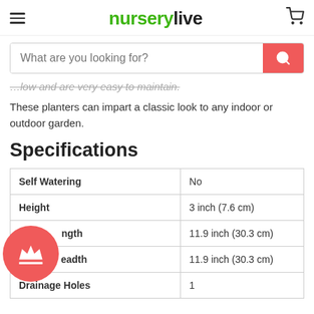nurserylive
...low and are very easy to maintain.
These planters can impart a classic look to any indoor or outdoor garden.
Specifications
|  |  |
| --- | --- |
| Self Watering | No |
| Height | 3 inch (7.6 cm) |
| Upper Length | 11.9 inch (30.3 cm) |
| Upper Breadth | 11.9 inch (30.3 cm) |
| Drainage Holes | 1 |